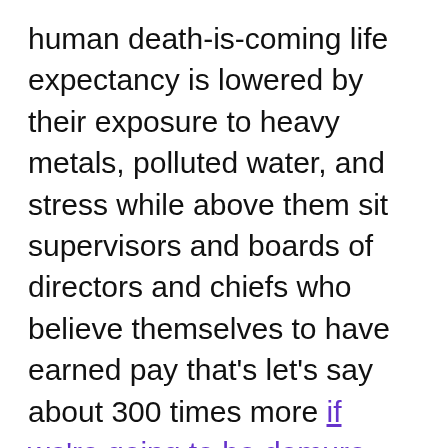human death-is-coming life expectancy is lowered by their exposure to heavy metals, polluted water, and stress while above them sit supervisors and boards of directors and chiefs who believe themselves to have earned pay that's let's say about 300 times more if we're going to be demure about it and defend the destruction of a social safety net, a destruction performed by laws written by lobbyists who are freely able to visit doctors at all times, a destruction by these colonizing capitalist tax-avoiding firms lowering effective wages and